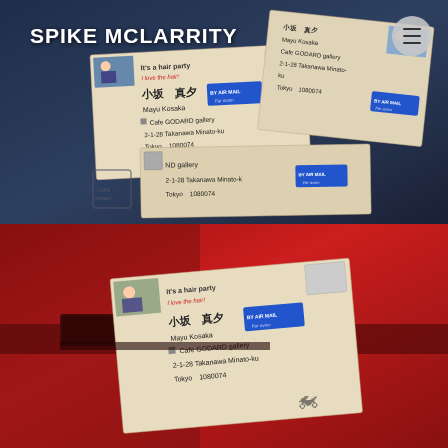SPIKE MCLARRITY
[Figure (photo): Photo of multiple fabric/wooden mailer cards with Japanese addresses on them, arranged on a dark blue surface. Cards show text including 'It's a hair party', 'I love the hair!', '小坂 真夕', 'Mayu Kosaka', 'Cafe GODARD gallery', '2-1-28 Takanawa Minato-ku', 'Tokyo 1080074', with blue BY AIR MAIL stickers. A hamburger menu icon is visible in top right corner.]
[Figure (photo): Photo of similar fabric/wooden mailer cards being inserted into a red British-style post box/mailbox, showing the same address details: 'It's a hair party', 'I love the hair!', '小坂 真夕', 'Mayu Kosaka', 'Cafe GODARD gallery', '2-1-28 Takanawa Minato-ku', 'Tokyo 1080074', with blue BY AIR MAIL sticker.]